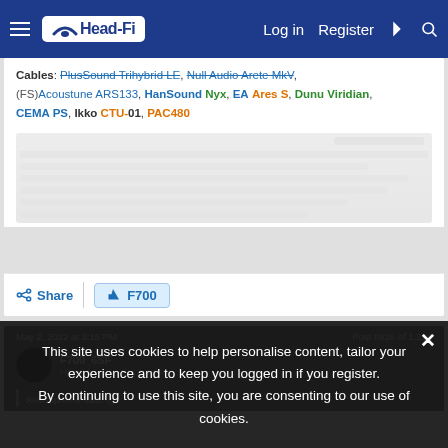Head-Fi | Log in | Register
Cables: PlusSound Trihybrid LE, Null Audio Arete MkV, (FS)Acoustune ARS133, HanSound Nyx, EA Ares S, Dunu Viridian, CEMA PS, Ikko CTU-01, PAC480
[blurred/redacted content]
Share | F700
May 2, 2022 at 3:15 PM   Post #626 of 1,229
F700_6SF  Headphoneus Supremus
Xinlisupreme said:
This site uses cookies to help personalise content, tailor your experience and to keep you logged in if you register. By continuing to use this site, you are consenting to our use of cookies.